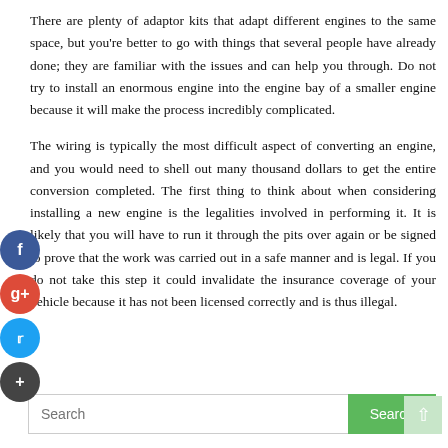There are plenty of adaptor kits that adapt different engines to the same space, but you're better to go with things that several people have already done; they are familiar with the issues and can help you through. Do not try to install an enormous engine into the engine bay of a smaller engine because it will make the process incredibly complicated.
The wiring is typically the most difficult aspect of converting an engine, and you would need to shell out many thousand dollars to get the entire conversion completed. The first thing to think about when considering installing a new engine is the legalities involved in performing it. It is likely that you will have to run it through the pits over again or be signed to prove that the work was carried out in a safe manner and is legal. If you do not take this step it could invalidate the insurance coverage of your vehicle because it has not been licensed correctly and is thus illegal.
[Figure (other): Social media share buttons: Facebook (blue), Google+ (red), Twitter (light blue), and a dark plus button, stacked vertically on the left side]
[Figure (other): Search bar with placeholder text 'Search', a green Search button, and a light green scroll-to-top arrow button on the far right]